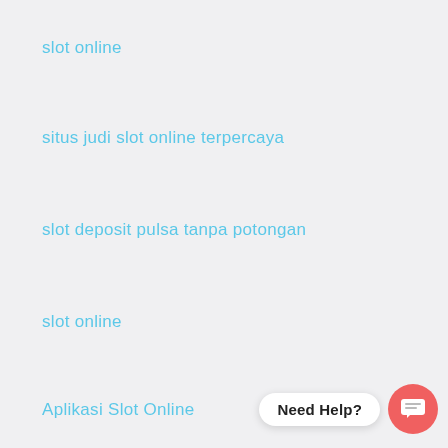slot online
situs judi slot online terpercaya
slot deposit pulsa tanpa potongan
slot online
Aplikasi Slot Online